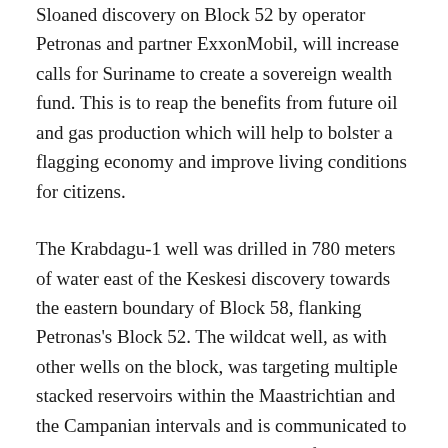Sloaned discovery on Block 52 by operator Petronas and partner ExxonMobil, will increase calls for Suriname to create a sovereign wealth fund. This is to reap the benefits from future oil and gas production which will help to bolster a flagging economy and improve living conditions for citizens.
The Krabdagu-1 well was drilled in 780 meters of water east of the Keskesi discovery towards the eastern boundary of Block 58, flanking Petronas's Block 52. The wildcat well, as with other wells on the block, was targeting multiple stacked reservoirs within the Maastrichtian and the Campanian intervals and is communicated to have encountered about 90 meters of good quality net oil pay.
Comparing this with previous discoveries on the block, Rystad Energy said Kravdagu-1 is one of the most successful wells in terms of net pay encountered. Maka